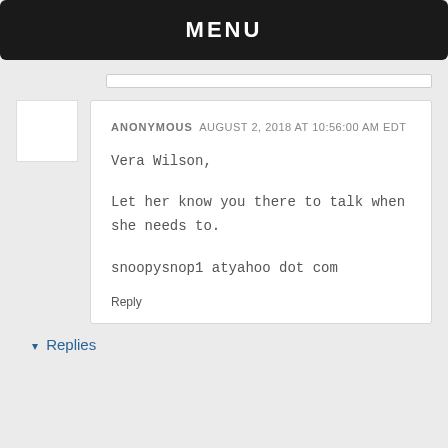MENU
ANONYMOUS AUGUST 2, 2018 AT 10:56:00 AM EDT

Vera Wilson,

Let her know you there to talk when she needs to.

snoopysnop1 atyahoo dot com

Reply
▾ Replies